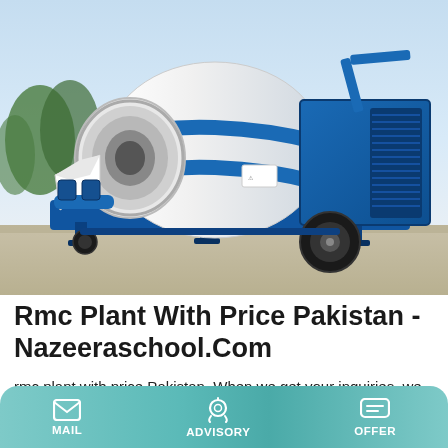[Figure (photo): A blue and white concrete/RMC plant mixer machine on wheels, parked on a paved surface with trees in the background.]
Rmc Plant With Price Pakistan - Nazeeraschool.Com
rmc plant with price Pakistan. When we get your inquiries, we will send tailored catalogue, pricelist, delivery, payment terms and other required details to you by email within 24 hours. continuous ready mixed mortar plant price list in pakistan. 120m³/h Concrete Batching Plant. HZS120 is a large and
MAIL  ADVISORY  OFFER